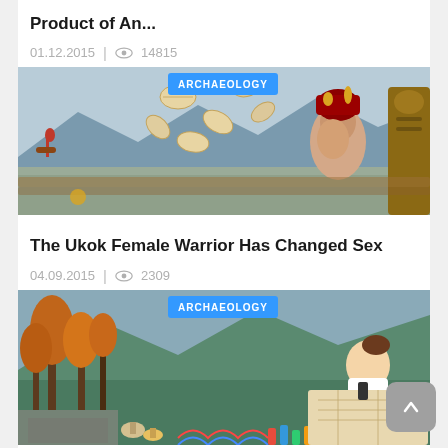Product of An...
01.12.2015  |  👁  14815
[Figure (photo): Composite archaeology image with cowrie shells, horseman, female warrior figure with red headdress, carved wooden artifact. Blue badge: ARCHAEOLOGY]
The Ukok Female Warrior Has Changed Sex
04.09.2015  |  👁  2309
[Figure (photo): Composite archaeology image with autumn trees, mountain valley, researcher examining map, DNA strands and colorful figurines. Blue badge: ARCHAEOLOGY]
On the Time Axis